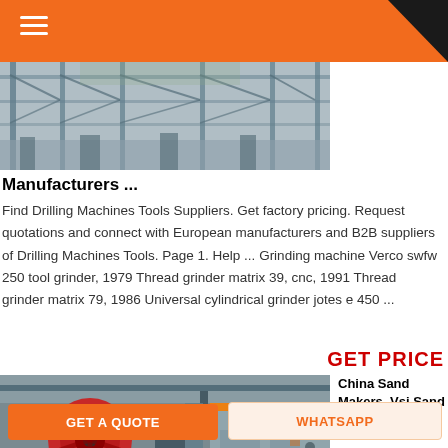[Figure (photo): Industrial facility interior showing steel framework, girders and structural supports overhead, with industrial equipment visible below.]
Manufacturers ...
Find Drilling Machines Tools Suppliers. Get factory pricing. Request quotations and connect with European manufacturers and B2B suppliers of Drilling Machines Tools. Page 1. Help ... Grinding machine Verco swfw 250 tool grinder, 1979 Thread grinder matrix 39, cnc, 1991 Thread grinder matrix 79, 1986 Universal cylindrical grinder jotes e 450 ...
GET PRICE
[Figure (photo): Industrial manufacturing plant interior showing large circular red flywheel/pulley machinery with overhead crane visible in background.]
China Sand Makers, Vsi Sand Maker
GET A QUOTE
WHATSAPP